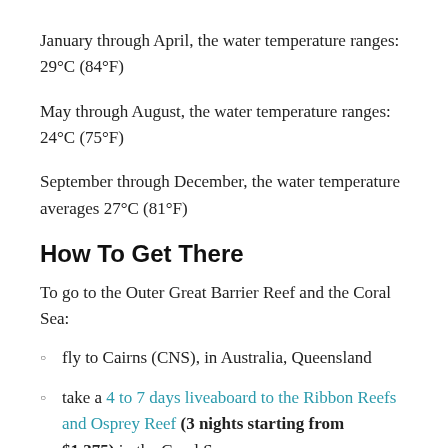January through April, the water temperature ranges: 29°C (84°F)
May through August, the water temperature ranges: 24°C (75°F)
September through December, the water temperature averages 27°C (81°F)
How To Get There
To go to the Outer Great Barrier Reef and the Coral Sea:
fly to Cairns (CNS), in Australia, Queensland
take a 4 to 7 days liveaboard to the Ribbon Reefs and Osprey Reef (3 nights starting from $1,375) in the Coral Sea